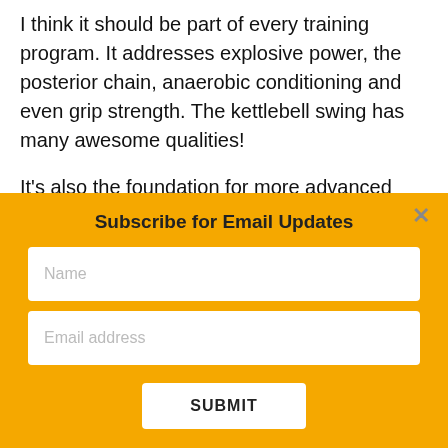I think it should be part of every training program. It addresses explosive power, the posterior chain, anaerobic conditioning and even grip strength. The kettlebell swing has many awesome qualities!
It's also the foundation for more advanced kettlebell movements like one-arm swings,
Subscribe for Email Updates
Name
Email address
SUBMIT